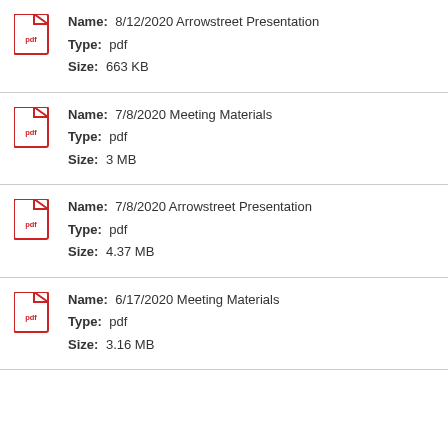Name: 8/12/2020 Arrowstreet Presentation | Type: pdf | Size: 663 KB
Name: 7/8/2020 Meeting Materials | Type: pdf | Size: 3 MB
Name: 7/8/2020 Arrowstreet Presentation | Type: pdf | Size: 4.37 MB
Name: 6/17/2020 Meeting Materials | Type: pdf | Size: 3.16 MB